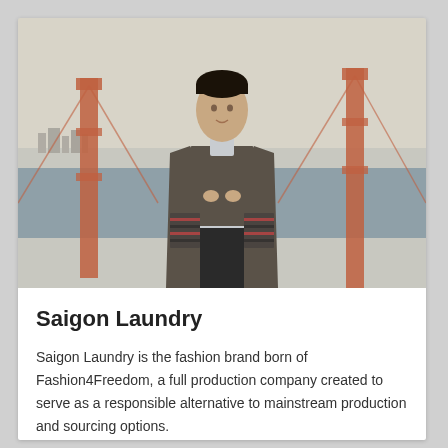[Figure (photo): A male fashion model wearing a patterned blazer over a white shirt, standing in front of the Golden Gate Bridge with the San Francisco Bay and skyline in the background.]
Saigon Laundry
Saigon Laundry is the fashion brand born of Fashion4Freedom, a full production company created to serve as a responsible alternative to mainstream production and sourcing options.